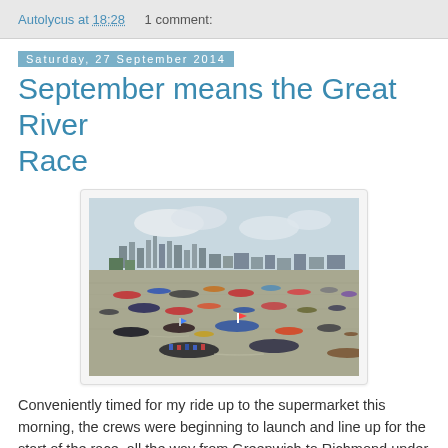Autolycus at 18:28    1 comment:
Saturday, 27 September 2014
September means the Great River Race
[Figure (photo): Aerial/elevated view of many racing boats and crews on the River Thames with the London city skyline in the background. Numerous colourful boats are spread across the river.]
Conveniently timed for my ride up to the supermarket this morning, the crews were beginning to launch and line up for the start of the race, all the way from Greenwich to Richmond under their own power (by oar or paddle, I think -